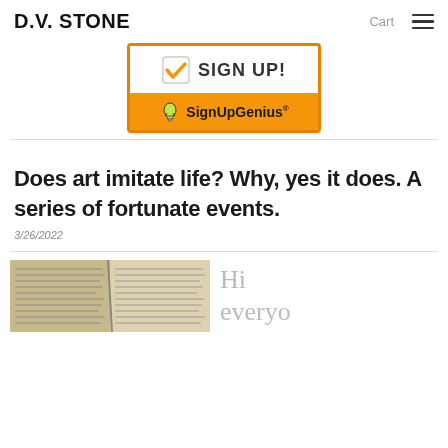D.V. STONE   Cart
[Figure (screenshot): SignUpGenius button widget with orange border showing a checkbox with orange checkmark and SIGN UP! text on white background, and SignUpGenius logo with lightbulb icon on orange background]
Does art imitate life? Why, yes it does. A series of fortunate events.
3/26/2022
[Figure (photo): Open book pages photographed from above showing printed text on white pages]
Hi everyo